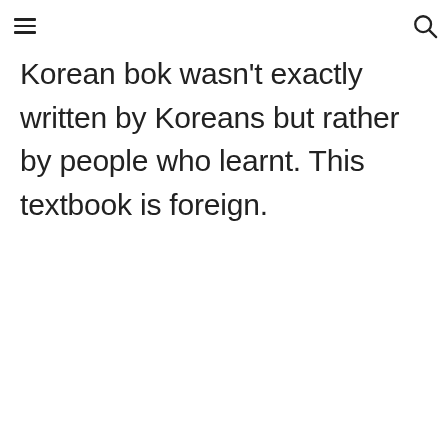[hamburger menu icon] [search icon]
Korean bok wasn't exactly written by Koreans but rather by people who learnt. This textbook is foreign.